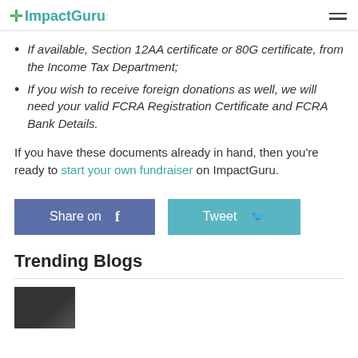ImpactGuru
If available, Section 12AA certificate or 80G certificate, from the Income Tax Department;
If you wish to receive foreign donations as well, we will need your valid FCRA Registration Certificate and FCRA Bank Details.
If you have these documents already in hand, then you’re ready to start your own fundraiser on ImpactGuru.
[Figure (other): Share on Facebook and Tweet buttons]
Trending Blogs
[Figure (photo): Blog thumbnail image, dark background]